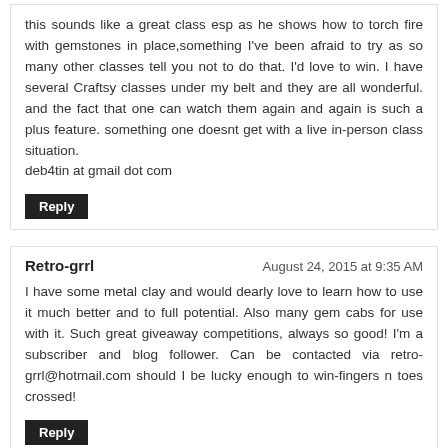this sounds like a great class esp as he shows how to torch fire with gemstones in place,something I've been afraid to try as so many other classes tell you not to do that. I'd love to win. I have several Craftsy classes under my belt and they are all wonderful. and the fact that one can watch them again and again is such a plus feature. something one doesnt get with a live in-person class situation.
deb4tin at gmail dot com
Reply
Retro-grrl
August 24, 2015 at 9:35 AM
I have some metal clay and would dearly love to learn how to use it much better and to full potential. Also many gem cabs for use with it. Such great giveaway competitions, always so good! I'm a subscriber and blog follower. Can be contacted via retro-grrl@hotmail.com should I be lucky enough to win-fingers n toes crossed!
Reply
Anonymous
August 24, 2015 at 9:52 AM